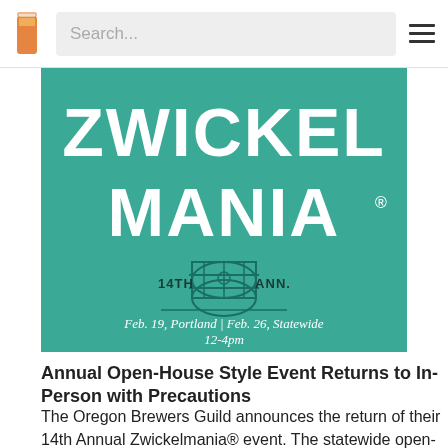Search...
[Figure (illustration): Zwickelmania 14th Annual event poster on teal background. Large white bold text reads ZWICKEL MANIA with a registered trademark symbol. Below is a barrel illustration with '14TH ANN.' text flanking it. Date text reads: Feb. 19, Portland | Feb. 26, Statewide 12-4pm]
Annual Open-House Style Event Returns to In-Person with Precautions
The Oregon Brewers Guild announces the return of their 14th Annual Zwickelmania® event. The statewide open-house style celebration of Oregon craft breweries will be returning safely in-person in